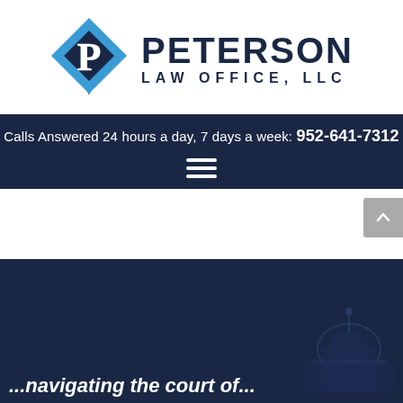[Figure (logo): Peterson Law Office, LLC logo with blue diamond shape containing a P and bold dark navy text PETERSON LAW OFFICE, LLC]
Calls Answered 24 hours a day, 7 days a week: 952-641-7312
[Figure (other): Hamburger menu icon (three horizontal white lines) on dark navy background]
[Figure (photo): Dark navy hero section with faint capitol building image in background and white italic text partially visible at bottom]